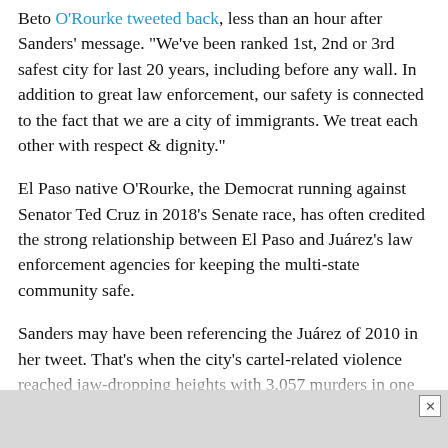Beto O'Rourke tweeted back, less than an hour after Sanders' message. "We've been ranked 1st, 2nd or 3rd safest city for last 20 years, including before any wall. In addition to great law enforcement, our safety is connected to the fact that we are a city of immigrants. We treat each other with respect & dignity."
El Paso native O'Rourke, the Democrat running against Senator Ted Cruz in 2018's Senate race, has often credited the strong relationship between El Paso and Juárez's law enforcement agencies for keeping the multi-state community safe.
Sanders may have been referencing the Juárez of 2010 in her tweet. That's when the city's cartel-related violence reached jaw-dropping heights with 3,057 murders in one